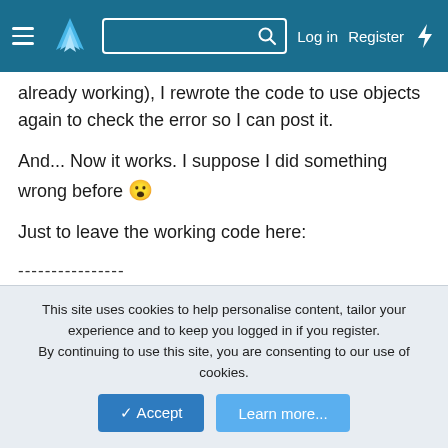Navigation bar with hamburger menu, logo, search box, Log in, Register, and bolt icon
already working), I rewrote the code to use objects again to check the error so I can post it.
And... Now it works. I suppose I did something wrong before 😮
Just to leave the working code here:
----------------
I've 2 radiobuttons in the designer, "rdTOK_SI" and "rdTOK_NO" (inside a panel named "pnl_rdTOK"), mutually exclusive. Also there is a button named "btnOK".
B4X:
This site uses cookies to help personalise content, tailor your experience and to keep you logged in if you register.
By continuing to use this site, you are consenting to our use of cookies.